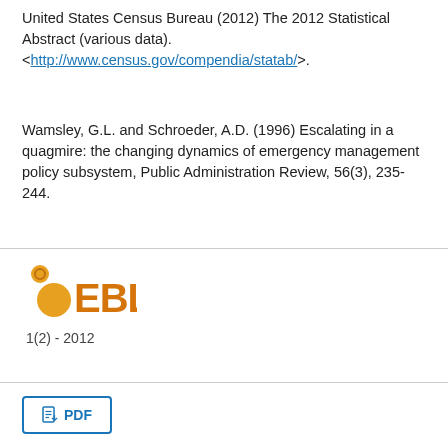United States Census Bureau (2012) The 2012 Statistical Abstract (various data). <http://www.census.gov/compendia/statab/>.
Wamsley, G.L. and Schroeder, A.D. (1996) Escalating in a quagmire: the changing dynamics of emergency management policy subsystem, Public Administration Review, 56(3), 235-244.
[Figure (logo): EBL logo with orange dots and text '1(2) - 2012']
PDF